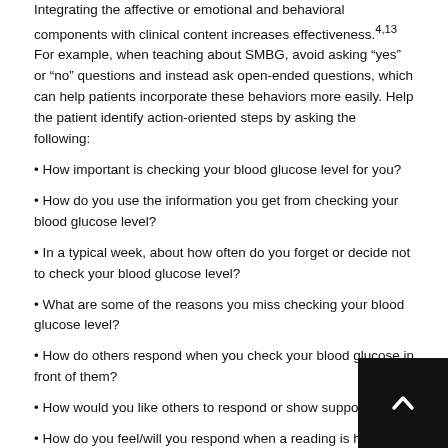Integrating the affective or emotional and behavioral components with clinical content increases effectiveness.4,13 For example, when teaching about SMBG, avoid asking “yes” or “no” questions and instead ask open-ended questions, which can help patients incorporate these behaviors more easily. Help the patient identify action-oriented steps by asking the following:
• How important is checking your blood glucose level for you?
• How do you use the information you get from checking your blood glucose level?
• In a typical week, about how often do you forget or decide not to check your blood glucose level?
• What are some of the reasons you miss checking your blood glucose level?
• How do others respond when you check your blood glucose in front of them?
• How would you like others to respond or show support?
• How do you feel/will you respond when a reading is higher or lower than you had hoped or anticipated?
• When will you check your blood glucose level?